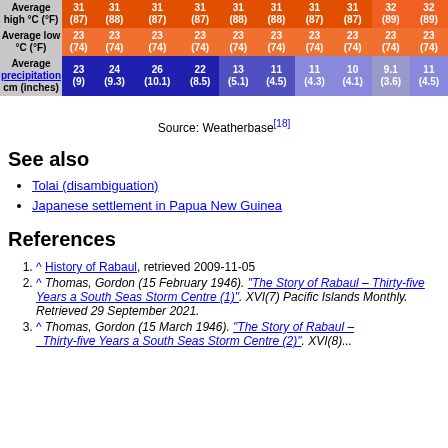|  | col1 | col2 | col3 | col4 | col5 | col6 | col7 | col8 | col9 | col10 |
| --- | --- | --- | --- | --- | --- | --- | --- | --- | --- | --- |
| Average high °C (°F) | 31 (87) | 31 (88) | 31 (87) | 31 (87) | 31 (88) | 31 (88) | 31 (87) | 31 (87) | 32 (89) | 32 (89) |
| Average low °C (°F) | 23 (74) | 23 (74) | 23 (74) | 23 (74) | 23 (74) | 23 (74) | 23 (74) | 23 (74) | 23 (74) | 23 (74) |
| Average precipitation cm (inches) | 23 (9) | 24 (9.3) | 26 (10.1) | 22 (8.5) | 13 (5.1) | 11 (4.5) | 11 (4.3) | 10 (4.1) | 9.1 (3.6) | 11 (4.5) |
Source: Weatherbase[18]
See also
Tolai (disambiguation)
Japanese settlement in Papua New Guinea
References
1. ^ History of Rabaul, retrieved 2009-11-05
2. ^ Thomas, Gordon (15 February 1946). "The Story of Rabaul – Thirty-five Years a South Seas Storm Centre (1)". XVI(7) Pacific Islands Monthly. Retrieved 29 September 2021.
3. ^ Thomas, Gordon (15 March 1946). "The Story of Rabaul – Thirty-five Years a South Seas Storm Centre (2)". XVI(8)...